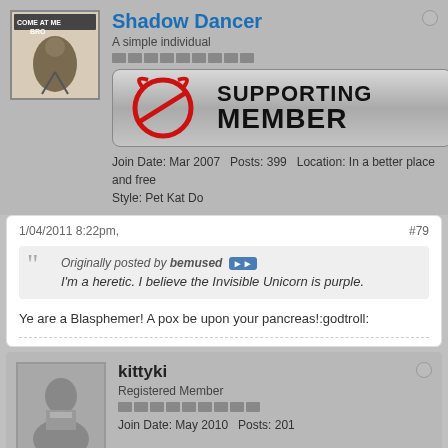Shadow Dancer
A simple individual
[Figure (illustration): Supporting Member badge with red circular logo and metallic background]
Join Date: Mar 2007   Posts: 399   Location: In a better place and free
Style: Pet Kat Do
1/04/2011 8:22pm,
#79
Originally posted by bemused ▶▶
I'm a heretic. I believe the Invisible Unicorn is purple.
Ye are a Blasphemer! A pox be upon your pancreas!:godtroll:
kittyki
Registered Member
Join Date: May 2010   Posts: 201